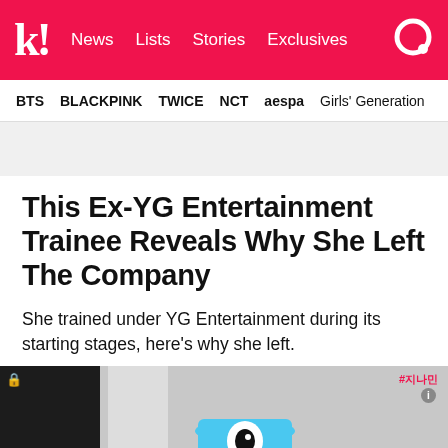k! News Lists Stories Exclusives
BTS  BLACKPINK  TWICE  NCT  aespa  Girls' Generation
This Ex-YG Entertainment Trainee Reveals Why She Left The Company
She trained under YG Entertainment during its starting stages, here's why she left.
[Figure (photo): Screenshot from a video show featuring a person wearing a blue cap with an eye graphic, overlaid Korean text reading YG에 나왔어요? and a hashtag #지나민 in the top right corner]